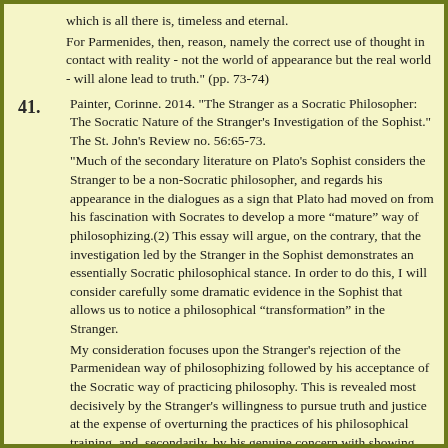which is all there is, timeless and eternal.
For Parmenides, then, reason, namely the correct use of thought in contact with reality - not the world of appearance but the real world - will alone lead to truth." (pp. 73-74)
41. Painter, Corinne. 2014. "The Stranger as a Socratic Philosopher: The Socratic Nature of the Stranger’s Investigation of the Sophist." The St. John's Review no. 56:65-73.
"Much of the secondary literature on Plato’s Sophist considers the Stranger to be a non-Socratic philosopher, and regards his appearance in the dialogues as a sign that Plato had moved on from his fascination with Socrates to develop a more “mature” way of philosophizing.(2) This essay will argue, on the contrary, that the investigation led by the Stranger in the Sophist demonstrates an essentially Socratic philosophical stance. In order to do this, I will consider carefully some dramatic evidence in the Sophist that allows us to notice a philosophical “transformation” in the Stranger.
My consideration focuses upon the Stranger’s rejection of the Parmenidean way of philosophizing followed by his acceptance of the Socratic way of practicing philosophy. This is revealed most decisively by the Stranger’s willingness to pursue truth and justice at the expense of overturning the practices of his philosophical training, and, secondarily, by his genuine concern with showing that Socrates is not guilty of sophistry."
(2) There are far too many accounts to list here; but see, for example, Stanley Rosen, Plato’s Sophist: The Drama of the Original and Image (South Bend, Indiana: St. Augustine’s Press, 1999). Just as Rosen argues in his text, most of the accounts in